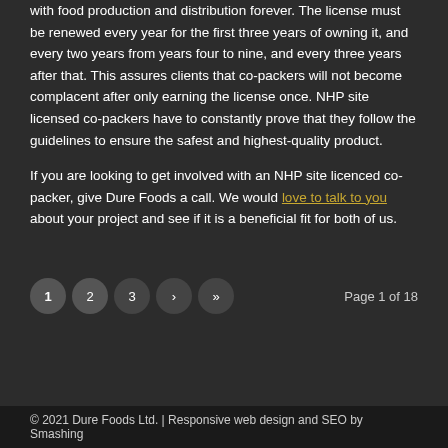with food production and distribution forever. The license must be renewed every year for the first three years of owning it, and every two years from years four to nine, and every three years after that. This assures clients that co-packers will not become complacent after only earning the license once. NHP site licensed co-packers have to constantly prove that they follow the guidelines to ensure the safest and highest-quality product.
If you are looking to get involved with an NHP site licenced co-packer, give Dure Foods a call. We would love to talk to you about your project and see if it is a beneficial fit for both of us.
© 2021 Dure Foods Ltd. | Responsive web design and SEO by Smashing